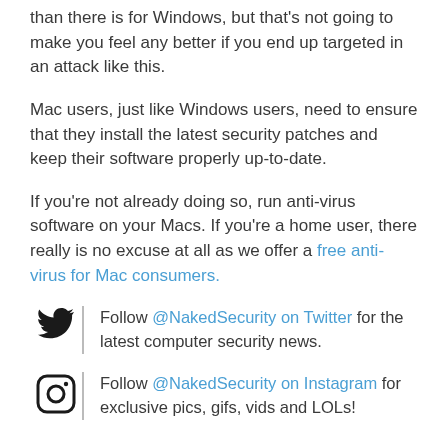than there is for Windows, but that's not going to make you feel any better if you end up targeted in an attack like this.
Mac users, just like Windows users, need to ensure that they install the latest security patches and keep their software properly up-to-date.
If you're not already doing so, run anti-virus software on your Macs. If you're a home user, there really is no excuse at all as we offer a free anti-virus for Mac consumers.
Follow @NakedSecurity on Twitter for the latest computer security news.
Follow @NakedSecurity on Instagram for exclusive pics, gifs, vids and LOLs!